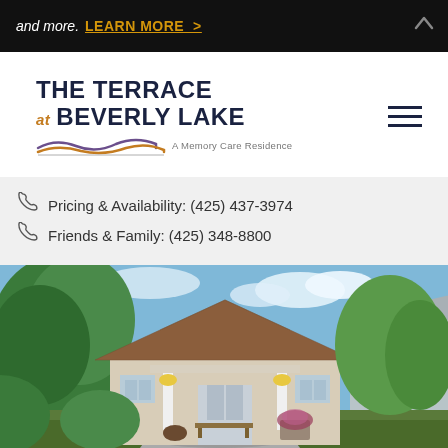and more. LEARN MORE >
[Figure (logo): The Terrace at Beverly Lake – A Memory Care Residence logo with wave graphic]
Pricing & Availability: (425) 437-3974
Friends & Family: (425) 348-8800
[Figure (photo): Exterior photo of The Terrace at Beverly Lake building — craftsman-style entrance with wood shingle gabled roof, white columns, flowering plants, surrounded by large trees under blue sky]